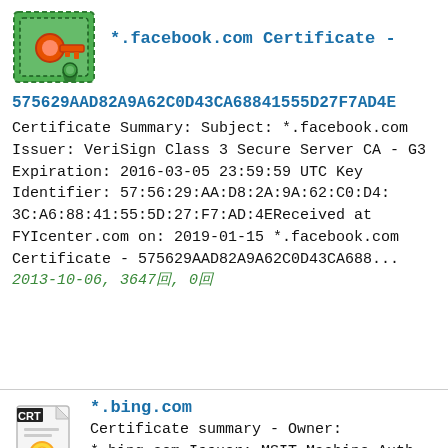[Figure (illustration): Green certificate icon with orange/red key and green ribbon seal]
*.facebook.com Certificate -
575629AAD82A9A62C0D43CA68841555D27F7AD4E
Certificate Summary: Subject: *.facebook.com Issuer: VeriSign Class 3 Secure Server CA - G3 Expiration: 2016-03-05 23:59:59 UTC Key Identifier: 57:56:29:AA:D8:2A:9A:62:C0:D4:3C:A6:88:41:55:5D:27:F7:AD:4EReceived at FYIcenter.com on: 2019-01-15 *.facebook.com Certificate - 575629AAD82A9A62C0D43CA688... 2013-10-06, 3647回, 0回
[Figure (illustration): CRT file icon with certificate and gold seal]
*.bing.com
Certificate summary - Owner: *.bing.com Issuer: MSIT Machine Auth CA 2, Dredmond, Dcorp, Dmicrosoft, Dcom Expiration: Sat Jun 27